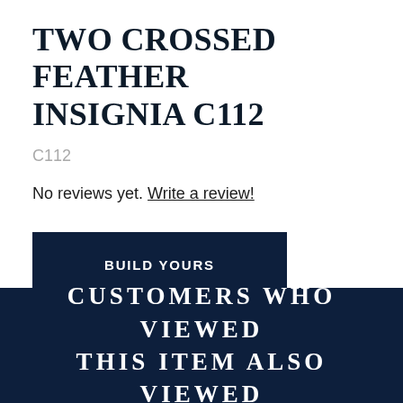TWO CROSSED FEATHER INSIGNIA C112
C112
No reviews yet. Write a review!
BUILD YOURS
CUSTOMERS WHO VIEWED THIS ITEM ALSO VIEWED